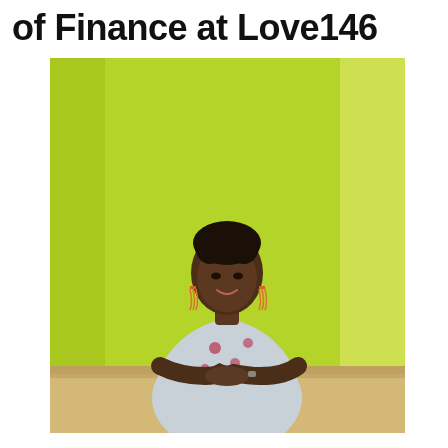of Finance at Love146
[Figure (photo): A woman with short locs and orange tassel earrings wearing a grey floral sleeveless top sits at a light wood table with her hands clasped, smiling, against a bright lime green wall background.]